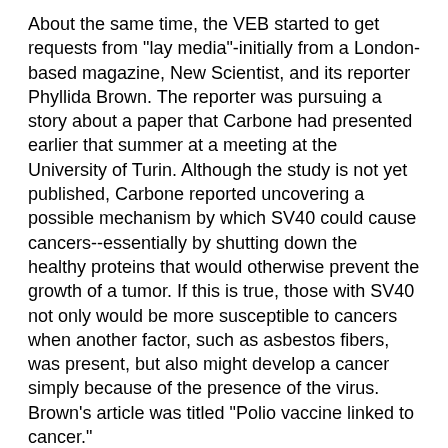About the same time, the VEB started to get requests from "lay media"-initially from a London-based magazine, New Scientist, and its reporter Phyllida Brown. The reporter was pursuing a story about a paper that Carbone had presented earlier that summer at a meeting at the University of Turin. Although the study is not yet published, Carbone reported uncovering a possible mechanism by which SV40 could cause cancers--essentially by shutting down the healthy proteins that would otherwise prevent the growth of a tumor. If this is true, those with SV40 not only would be more susceptible to cancers when another factor, such as asbestos fibers, was present, but also might develop a cancer simply because of the presence of the virus. Brown's article was titled "Polio vaccine linked to cancer."
While declining to discuss this specific study until it has been peer-reviewed for publication, Carbone says. "You never get cancer because of one reason. A number of accidents happen before you get cancer. With SV40, there are enough intriguing coincidences that make it worth a much larger study."
Until recently, as a result of Shah's study, the VEB